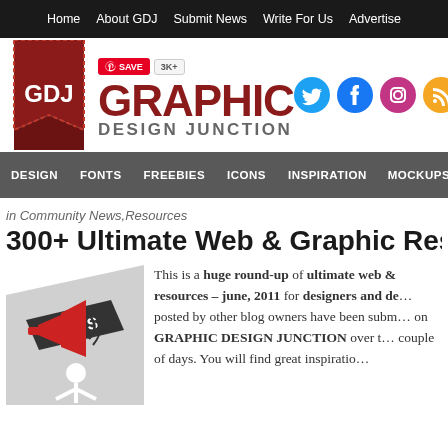Home | About GDJ | Submit News | Write For Us | Advertise
[Figure (logo): Graphic Design Junction logo with GDJ red ribbon badge, large red text GRAPHIC, gray text DESIGN JUNCTION, Pinterest save button showing 3K+, social media icons (Twitter, Facebook, Instagram, RSS)]
DESIGN  FONTS  FREEBIES  ICONS  INSPIRATION  MOCKUPS  LOGOS
in Community News,Resources
300+ Ultimate Web & Graphic Resources
[Figure (illustration): White 3D figure holding megaphone with NEWS banner, announcement illustration]
This is a huge round-up of ultimate web & resources – june, 2011 for designers and de... posted by other blog owners have been subm... on GRAPHIC DESIGN JUNCTION over t... couple of days. You will find great inspiratio...